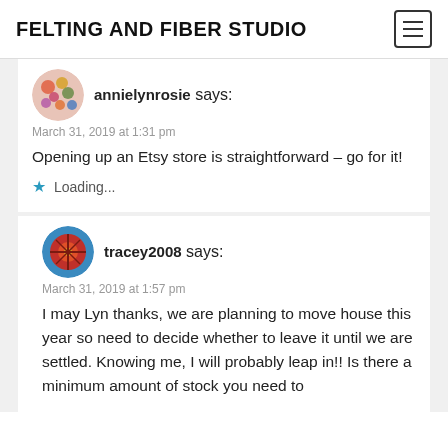FELTING AND FIBER STUDIO
annielynrosie says:
March 31, 2019 at 1:31 pm
Opening up an Etsy store is straightforward – go for it!
Loading...
tracey2008 says:
March 31, 2019 at 1:57 pm
I may Lyn thanks, we are planning to move house this year so need to decide whether to leave it until we are settled. Knowing me, I will probably leap in!! Is there a minimum amount of stock you need to